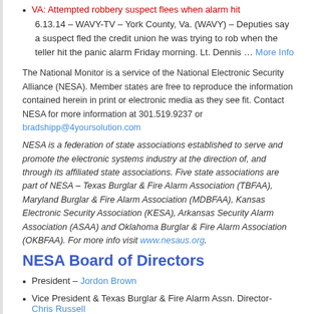VA: Attempted robbery suspect flees when alarm hit
6.13.14 – WAVY-TV – York County, Va. (WAVY) – Deputies say a suspect fled the credit union he was trying to rob when the teller hit the panic alarm Friday morning. Lt. Dennis … More Info
The National Monitor is a service of the National Electronic Security Alliance (NESA). Member states are free to reproduce the information contained herein in print or electronic media as they see fit. Contact NESA for more information at 301.519.9237 or bradshipp@4yoursolution.com
NESA is a federation of state associations established to serve and promote the electronic systems industry at the direction of, and through its affiliated state associations. Five state associations are part of NESA – Texas Burglar & Fire Alarm Association (TBFAA), Maryland Burglar & Fire Alarm Association (MDBFAA), Kansas Electronic Security Association (KESA), Arkansas Security Alarm Association (ASAA) and Oklahoma Burglar & Fire Alarm Association (OKBFAA). For more info visit www.nesaus.org.
NESA Board of Directors
President – Jordon Brown
Vice President & Texas Burglar & Fire Alarm Assn. Director- Chris Russell
Secretary- Kathleen Schraufnagel
Treasurer and Arkansas Security Alarm Assn. Director – Rick Howell